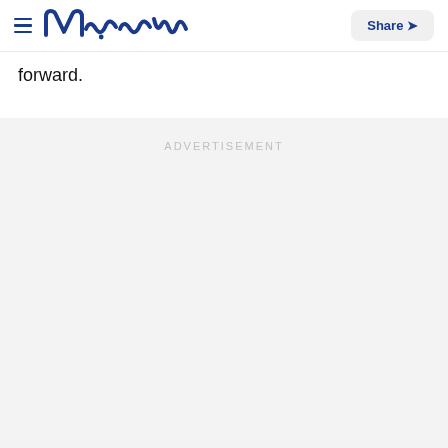meaww | Share
forward.
ADVERTISEMENT